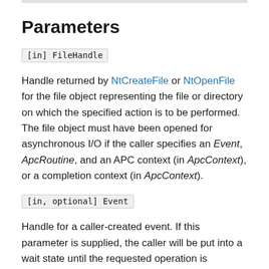Parameters
[in] FileHandle
Handle returned by NtCreateFile or NtOpenFile for the file object representing the file or directory on which the specified action is to be performed. The file object must have been opened for asynchronous I/O if the caller specifies an Event, ApcRoutine, and an APC context (in ApcContext), or a completion context (in ApcContext).
[in, optional] Event
Handle for a caller-created event. If this parameter is supplied, the caller will be put into a wait state until the requested operation is completed and the given event is set to the Signaled state. This parameter is optional and can be